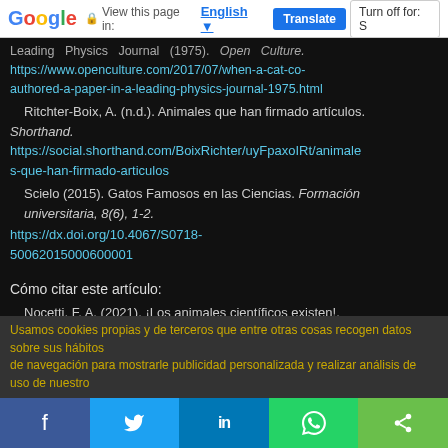Google | View this page in: English | Translate | Turn off for: S
Leading Physics Journal (1975). Open Culture. https://www.openculture.com/2017/07/when-a-cat-co-authored-a-paper-in-a-leading-physics-journal-1975.html
Ritchter-Boix, A. (n.d.). Animales que han firmado artículos. Shorthand. https://social.shorthand.com/BoixRichter/uyFpaxoIRt/animales-que-han-firmado-articulos
Scielo (2015). Gatos Famosos en las Ciencias. Formación universitaria, 8(6), 1-2. https://dx.doi.org/10.4067/S0718-50062015000600001
Cómo citar este artículo:
Nocetti, F. A. (2021). ¡Los animales científicos existen!.
Usamos cookies propias y de terceros que entre otras cosas recogen datos sobre sus hábitos de navegación para mostrarle publicidad personalizada y realizar análisis de uso de nuestro